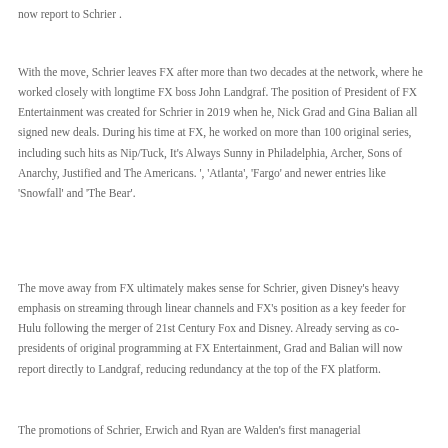now report to Schrier .
With the move, Schrier leaves FX after more than two decades at the network, where he worked closely with longtime FX boss John Landgraf. The position of President of FX Entertainment was created for Schrier in 2019 when he, Nick Grad and Gina Balian all signed new deals. During his time at FX, he worked on more than 100 original series, including such hits as Nip/Tuck, It's Always Sunny in Philadelphia, Archer, Sons of Anarchy, Justified and The Americans. ', 'Atlanta', 'Fargo' and newer entries like 'Snowfall' and 'The Bear'.
The move away from FX ultimately makes sense for Schrier, given Disney's heavy emphasis on streaming through linear channels and FX's position as a key feeder for Hulu following the merger of 21st Century Fox and Disney. Already serving as co-presidents of original programming at FX Entertainment, Grad and Balian will now report directly to Landgraf, reducing redundancy at the top of the FX platform.
The promotions of Schrier, Erwich and Ryan are Walden's first managerial